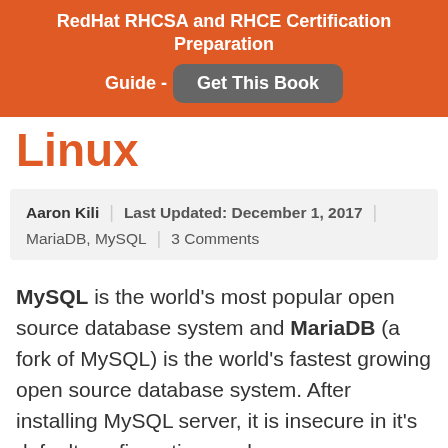RedHat RHCSA and RHCE Certification Preparation Guide - Get This Book
Linux
Aaron Kili | Last Updated: December 1, 2017 | MariaDB, MySQL | 3 Comments
MySQL is the world's most popular open source database system and MariaDB (a fork of MySQL) is the world's fastest growing open source database system. After installing MySQL server, it is insecure in it's default configuration, and